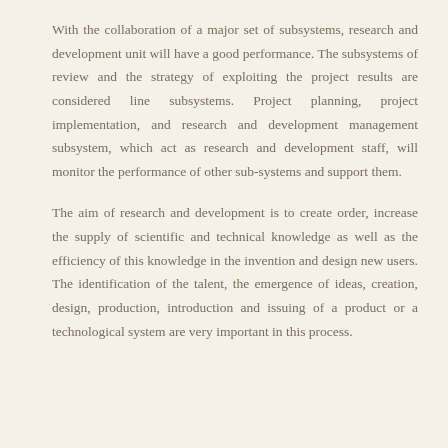With the collaboration of a major set of subsystems, research and development unit will have a good performance. The subsystems of review and the strategy of exploiting the project results are considered line subsystems. Project planning, project implementation, and research and development management subsystem, which act as research and development staff, will monitor the performance of other sub-systems and support them.
The aim of research and development is to create order, increase the supply of scientific and technical knowledge as well as the efficiency of this knowledge in the invention and design new users. The identification of the talent, the emergence of ideas, creation, design, production, introduction and issuing of a product or a technological system are very important in this process.